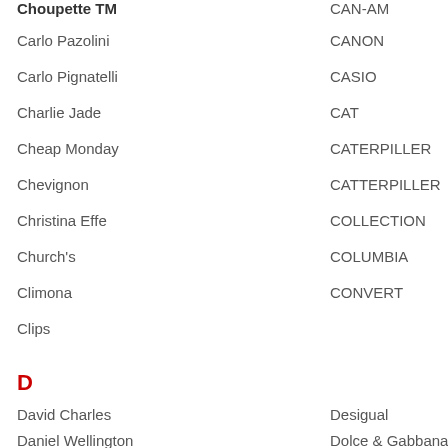Choupette TM
CAN-AM
Carlo Pazolini
CANON
Carlo Pignatelli
CASIO
Charlie Jade
CAT
Cheap Monday
CATERPILLER
Chevignon
CATTERPILLER
Christina Effe
COLLECTION
Church's
COLUMBIA
Climona
CONVERT
Clips
D
David Charles
Desigual
Daniel Wellington
Dolce & Gabbana